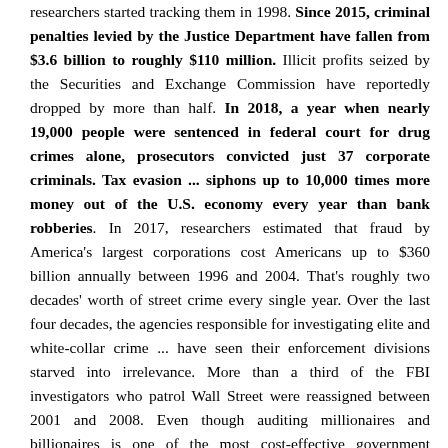researchers started tracking them in 1998. Since 2015, criminal penalties levied by the Justice Department have fallen from $3.6 billion to roughly $110 million. Illicit profits seized by the Securities and Exchange Commission have reportedly dropped by more than half. In 2018, a year when nearly 19,000 people were sentenced in federal court for drug crimes alone, prosecutors convicted just 37 corporate criminals. Tax evasion ... siphons up to 10,000 times more money out of the U.S. economy every year than bank robberies. In 2017, researchers estimated that fraud by America's largest corporations cost Americans up to $360 billion annually between 1996 and 2004. That's roughly two decades' worth of street crime every single year. Over the last four decades, the agencies responsible for investigating elite and white-collar crime ... have seen their enforcement divisions starved into irrelevance. More than a third of the FBI investigators who patrol Wall Street were reassigned between 2001 and 2008. Even though auditing millionaires and billionaires is one of the most cost-effective government activities imaginable—an independent report estimated in 2014 that it yielded up to $4,545 in recovered revenue per hour of